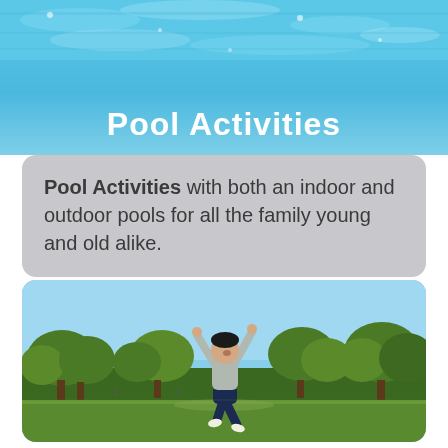[Figure (photo): Pool water surface viewed from above, light blue water with reflections]
Pool Activities
Pool Activities with both an indoor and outdoor pools for all the family young and old alike.
[Figure (photo): A person jumping in the air with arms raised in a park with green trees and blue sky in the background]